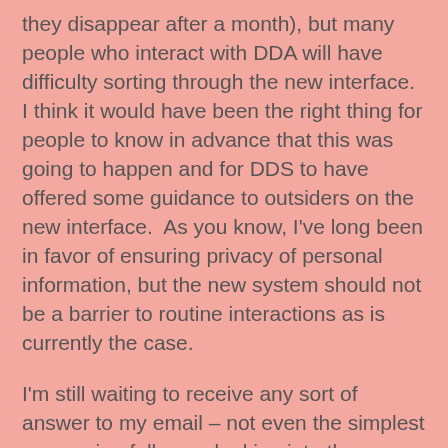they disappear after a month), but many people who interact with DDA will have difficulty sorting through the new interface.  I think it would have been the right thing for people to know in advance that this was going to happen and for DDS to have offered some guidance to outsiders on the new interface.  As you know, I've long been in favor of ensuring privacy of personal information, but the new system should not be a barrier to routine interactions as is currently the case.
I'm still waiting to receive any sort of answer to my email – not even the simplest one saying folks are looking into these issues.  And we're still waiting to see our son's updated ISP, two months into the service year.
I worked in the federal government for over thirty years, and the concept of customer service was